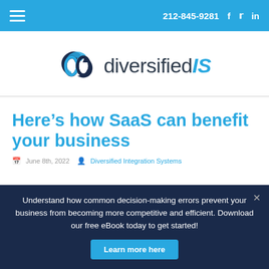212-845-9281  f  t  in
[Figure (logo): diversifiedIS logo with stylized leaf/link icon in dark blue and blue, followed by text 'diversifiedIS' in dark and blue italic]
Here’s how SaaS can benefit your business
June 8th, 2022  Diversified Integration Systems
Understand how common decision-making errors prevent your business from becoming more competitive and efficient. Download our free eBook today to get started!